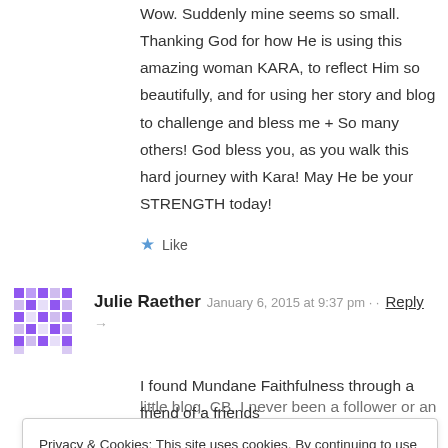Wow. Suddenly mine seems so small. Thanking God for how He is using this amazing woman KARA, to reflect Him so beautifully, and for using her story and blog to challenge and bless me + So many others! God bless you, as you walk this hard journey with Kara! May He be your STRENGTH today!
★ Like
Julie Raether   January 6, 2015 at 9:37 pm   Reply
→
I found Mundane Faithfulness through a friend of a friends
Privacy & Cookies: This site uses cookies. By continuing to use this website, you agree to their use.
To find out more, including how to control cookies, see here: Cookie Policy
Close and accept